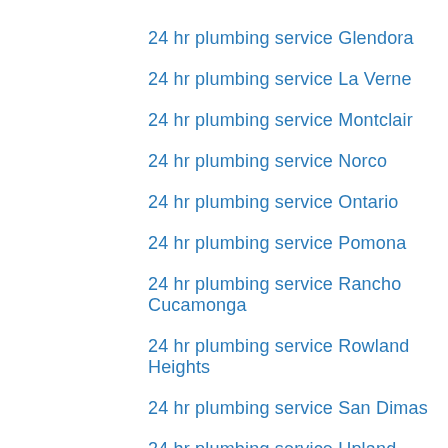24 hr plumbing service Glendora
24 hr plumbing service La Verne
24 hr plumbing service Montclair
24 hr plumbing service Norco
24 hr plumbing service Ontario
24 hr plumbing service Pomona
24 hr plumbing service Rancho Cucamonga
24 hr plumbing service Rowland Heights
24 hr plumbing service San Dimas
24 hr plumbing service Upland